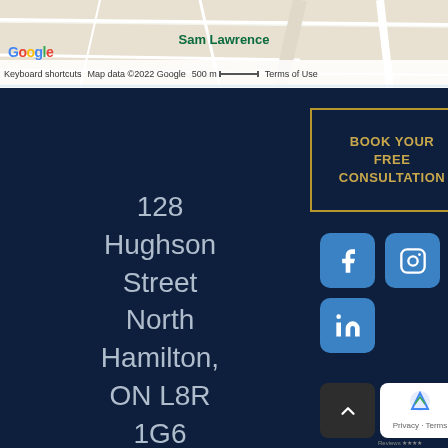[Figure (map): Google Maps screenshot showing street map with Sam Lawrence label, Google logo, keyboard shortcuts, map data copyright 2022 Google, 500m scale bar, Terms of Use link]
128 Hughson Street North Hamilton, ON L8R 1G6
BOOK YOUR FREE CONSULTATION
[Figure (other): Facebook social media icon - blue rounded square with f logo]
[Figure (other): Instagram social media icon - blue rounded square with camera logo]
[Figure (other): LinkedIn social media icon - blue rounded square with in logo]
[Figure (other): Scroll to top button - dark rounded square with up arrow]
[Figure (other): Google Reviews / reCAPTCHA badge - white rounded rectangle]